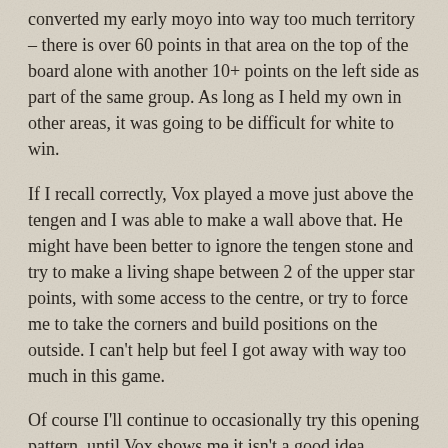converted my early moyo into way too much territory – there is over 60 points in that area on the top of the board alone with another 10+ points on the left side as part of the same group. As long as I held my own in other areas, it was going to be difficult for white to win.
If I recall correctly, Vox played a move just above the tengen and I was able to make a wall above that. He might have been better to ignore the tengen stone and try to make a living shape between 2 of the upper star points, with some access to the centre, or try to force me to take the corners and build positions on the outside. I can't help but feel I got away with way too much in this game.
Of course I'll continue to occasionally try this opening pattern, until Vox shows me it isn't a good idea.